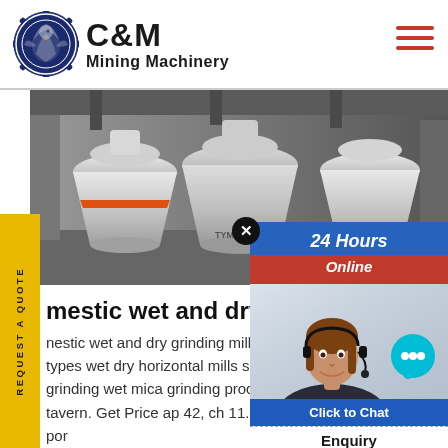[Figure (logo): C&M Mining Machinery logo with eagle in gear circle and company name]
[Figure (photo): Industrial mining machinery (cone crushers) in a factory/workshop setting, grey tones]
[Figure (infographic): 24 Hours Online chat widget with blue and red header, customer service representative photo, chat bubble icon, Click to Chat button, and Enquiry label]
REQUEST A QUOTE
mestic wet and dry gr
nestic wet and dry grinding mill. types wet dry horizontal mills semi grinding wet mica grinding process tavern. Get Price ap 42, ch 11.6: por